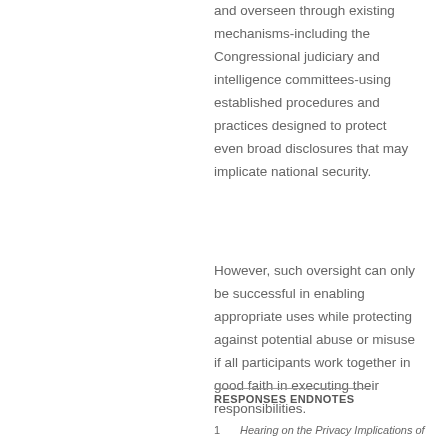and overseen through existing mechanisms-including the Congressional judiciary and intelligence committees-using established procedures and practices designed to protect even broad disclosures that may implicate national security.
However, such oversight can only be successful in enabling appropriate uses while protecting against potential abuse or misuse if all participants work together in good faith in executing their responsibilities.
RESPONSES ENDNOTES
1    Hearing on the Privacy Implications of